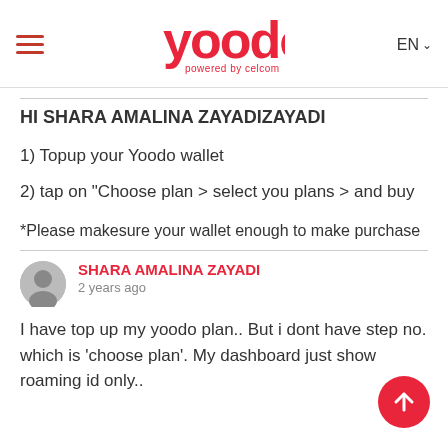[Figure (logo): Yoodo logo - powered by celcom, red color]
HI SHARA AMALINA ZAYADIZAYADI
1) Topup your Yoodo wallet
2) tap on "Choose plan > select you plans > and buy
*Please makesure your wallet enough to make purchase
SHARA AMALINA ZAYADI
2 years ago
I have top up my yoodo plan.. But i dont have step no. which is 'choose plan'. My dashboard just show roaming id only..